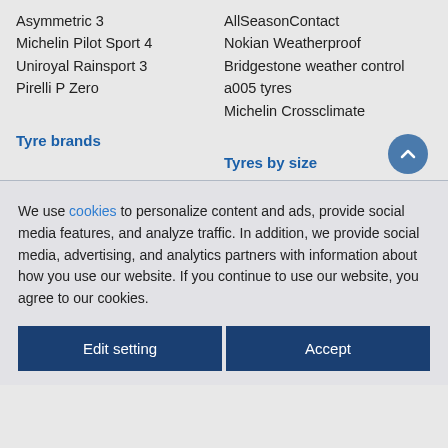Asymmetric 3
Michelin Pilot Sport 4
Uniroyal Rainsport 3
Pirelli P Zero
AllSeasonContact
Nokian Weatherproof
Bridgestone weather control a005 tyres
Michelin Crossclimate
Tyre brands
Tyres by size
We use cookies to personalize content and ads, provide social media features, and analyze traffic. In addition, we provide social media, advertising, and analytics partners with information about how you use our website. If you continue to use our website, you agree to our cookies.
Edit setting
Accept